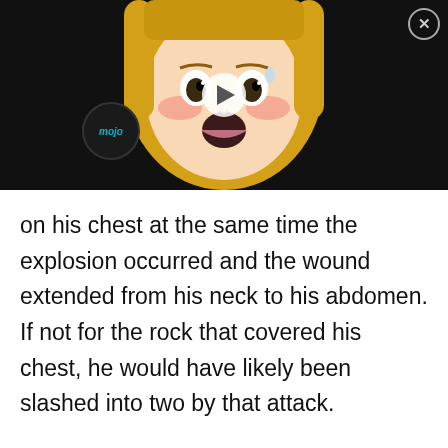[Figure (screenshot): Video thumbnail showing an anime girl character with blonde hair, blushing face and open mouth. A play button is overlaid in the center. A circular 'mojo' logo badge is visible. An X close button is in the top right corner. The background is black.]
on his chest at the same time the explosion occurred and the wound extended from his neck to his abdomen. If not for the rock that covered his chest, he would have likely been slashed into two by that attack.
“Ole Three!”